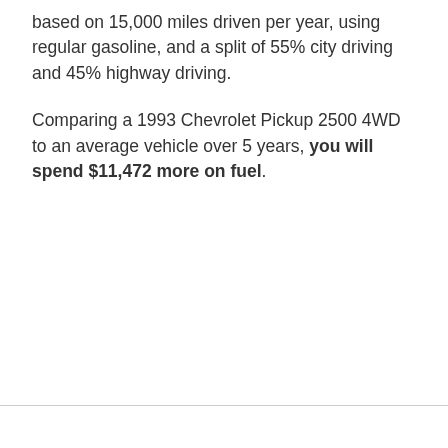based on 15,000 miles driven per year, using regular gasoline, and a split of 55% city driving and 45% highway driving.
Comparing a 1993 Chevrolet Pickup 2500 4WD to an average vehicle over 5 years, you will spend $11,472 more on fuel.